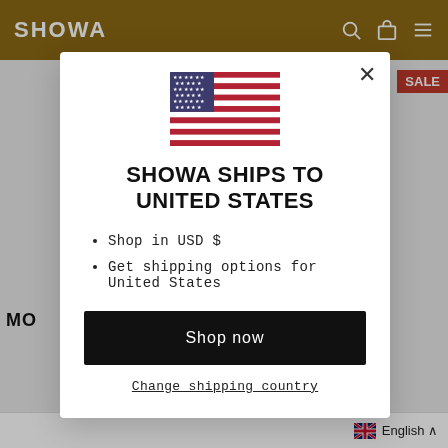SHOWA
[Figure (screenshot): Background e-commerce page with product listings, sale badge, and 'MO...' section header]
[Figure (illustration): United States flag emoji/icon displayed in modal]
SHOWA SHIPS TO UNITED STATES
Shop in USD $
Get shipping options for United States
Shop now
Change shipping country
English